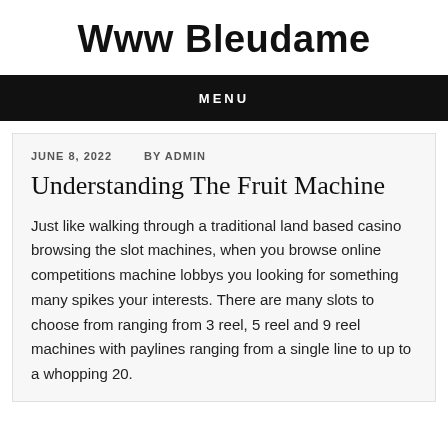Www Bleudame
MENU
JUNE 8, 2022   BY ADMIN
Understanding The Fruit Machine
Just like walking through a traditional land based casino browsing the slot machines, when you browse online competitions machine lobbys you looking for something many spikes your interests. There are many slots to choose from ranging from 3 reel, 5 reel and 9 reel machines with paylines ranging from a single line to up to a whopping 20.